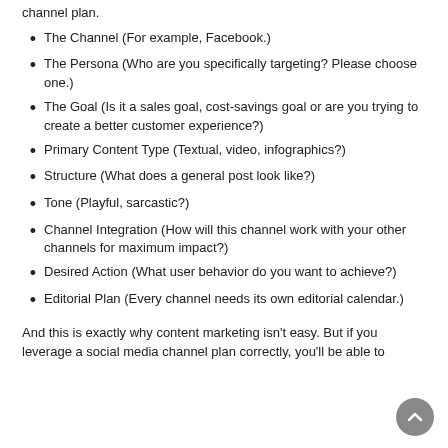channel plan.
The Channel (For example, Facebook.)
The Persona (Who are you specifically targeting? Please choose one.)
The Goal (Is it a sales goal, cost-savings goal or are you trying to create a better customer experience?)
Primary Content Type (Textual, video, infographics?)
Structure (What does a general post look like?)
Tone (Playful, sarcastic?)
Channel Integration (How will this channel work with your other channels for maximum impact?)
Desired Action (What user behavior do you want to achieve?)
Editorial Plan (Every channel needs its own editorial calendar.)
And this is exactly why content marketing isn't easy. But if you leverage a social media channel plan correctly, you'll be able to